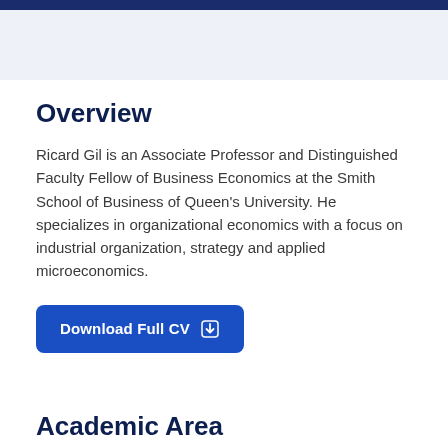Overview
Ricard Gil is an Associate Professor and Distinguished Faculty Fellow of Business Economics at the Smith School of Business of Queen's University. He specializes in organizational economics with a focus on industrial organization, strategy and applied microeconomics.
Download Full CV
Academic Area
Business Economics